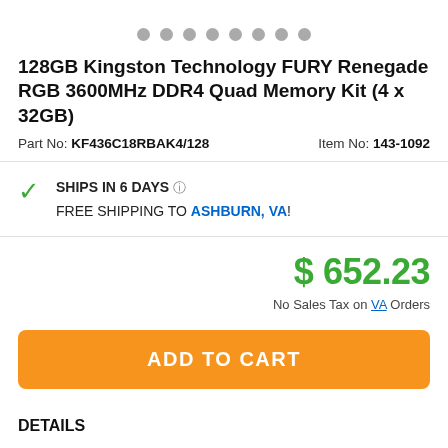[Figure (other): Image carousel navigation dots — 8 grey circles]
128GB Kingston Technology FURY Renegade RGB 3600MHz DDR4 Quad Memory Kit (4 x 32GB)
Part No: KF436C18RBAK4/128    Item No: 143-1092
SHIPS IN 6 DAYS ⓘ
FREE SHIPPING TO ASHBURN, VA!
$ 652.23
No Sales Tax on VA Orders
ADD TO CART
DETAILS